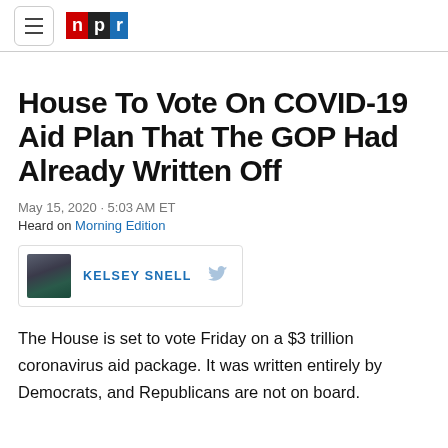NPR
House To Vote On COVID-19 Aid Plan That The GOP Had Already Written Off
May 15, 2020 · 5:03 AM ET
Heard on Morning Edition
KELSEY SNELL
The House is set to vote Friday on a $3 trillion coronavirus aid package. It was written entirely by Democrats, and Republicans are not on board.